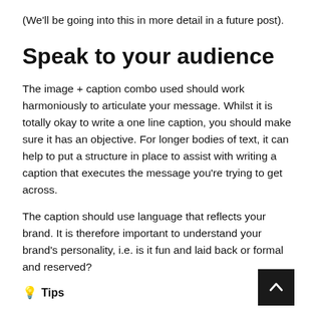(We'll be going into this in more detail in a future post).
Speak to your audience
The image + caption combo used should work harmoniously to articulate your message. Whilst it is totally okay to write a one line caption, you should make sure it has an objective. For longer bodies of text, it can help to put a structure in place to assist with writing a caption that executes the message you're trying to get across.
The caption should use language that reflects your brand. It is therefore important to understand your brand's personality, i.e. is it fun and laid back or formal and reserved?
💡 Tips